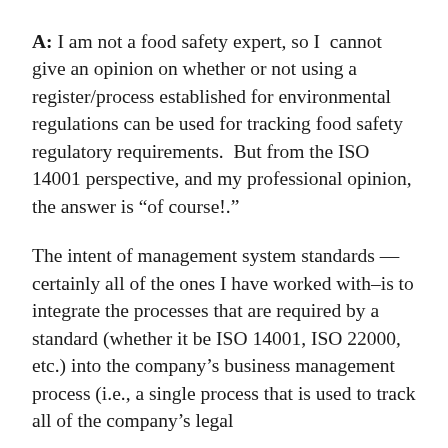A: I am not a food safety expert, so I cannot give an opinion on whether or not using a register/process established for environmental regulations can be used for tracking food safety regulatory requirements.  But from the ISO 14001 perspective, and my professional opinion, the answer is “of course!.”
The intent of management system standards — certainly all of the ones I have worked with–is to integrate the processes that are required by a standard (whether it be ISO 14001, ISO 22000, etc.) into the company’s business management process (i.e., a single process that is used to track all of the company’s legal